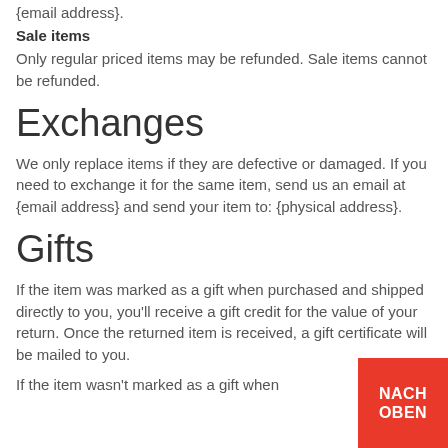{email address}.
Sale items
Only regular priced items may be refunded. Sale items cannot be refunded.
Exchanges
We only replace items if they are defective or damaged. If you need to exchange it for the same item, send us an email at {email address} and send your item to: {physical address}.
Gifts
If the item was marked as a gift when purchased and shipped directly to you, you'll receive a gift credit for the value of your return. Once the returned item is received, a gift certificate will be mailed to you.
If the item wasn't marked as a gift when